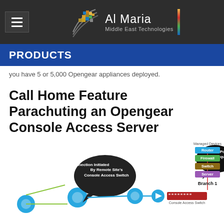Al Maria Middle East Technologies
PRODUCTS
you have 5 or 5,000 Opengear appliances deployed.
Call Home Feature Parachuting an Opengear Console Access Server
[Figure (infographic): Network diagram showing Call Home Feature: a remote site connection initiated by Remote Site's Console Access Switch through network nodes to a Console Access Switch, with a speech bubble saying 'No Firewall Policy Changes Required', and Branch 1 managed devices panel showing Router, Firewall, Switch, Server.]